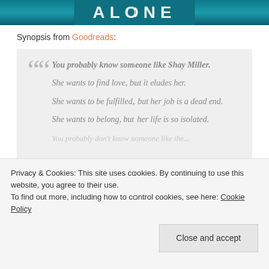[Figure (photo): Book cover image showing the word ALONE with teal/dark background, partial view]
Synopsis from Goodreads:
You probably know someone like Shay Miller. She wants to find love, but it eludes her. She wants to be fulfilled, but her job is a dead end. She wants to belong, but her life is so isolated.
Privacy & Cookies: This site uses cookies. By continuing to use this website, you agree to their use. To find out more, including how to control cookies, see here: Cookie Policy
Close and accept